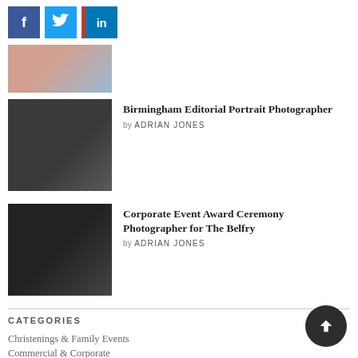[Figure (other): Social share buttons: Facebook (blue), Twitter (light blue), LinkedIn (blue with red stripe)]
[Figure (photo): Partial thumbnail of a christening or baby photo at the top]
Birmingham Editorial Portrait Photographer
by ADRIAN JONES
[Figure (photo): Thumbnail of a man in dark clothes seated at a table — portrait photography subject]
Corporate Event Award Ceremony Photographer for The Belfry
by ADRIAN JONES
[Figure (photo): Thumbnail of three people at an award ceremony event at The Belfry]
CATEGORIES
Christenings & Family Events
Commercial & Corporate